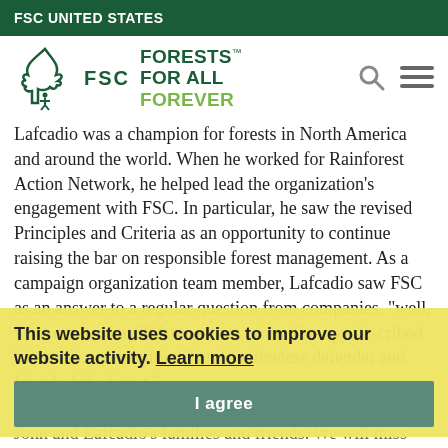FSC UNITED STATES
[Figure (logo): FSC logo with tree and person icon, text 'FSC' below, tagline 'FORESTS FOR ALL FOREVER' with trademark symbol]
Lafcadio was a champion for forests in North America and around the world. When he worked for Rainforest Action Network, he helped lead the organization's engagement with FSC. In particular, he saw the revised Principles and Criteria as an opportunity to continue raising the bar on responsible forest management. As a campaign organization team member, Lafcadio saw FSC as an answer to a regular question from companies, "well, what can we buy?" A recent post from Canopy described him as "joy personified," and "a timeless defender and friend of the forest."
This website uses cookies to improve our website activity. Learn more
I agree
The team at FSC US offers our sincere condolences to John and Lafcadio's families and friends. We will miss them both dearly.